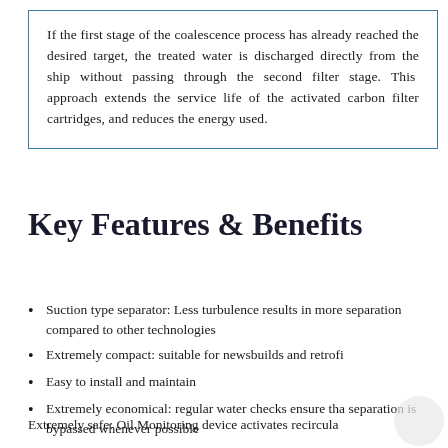If the first stage of the coalescence process has already reached the desired target, the treated water is discharged directly from the ship without passing through the second filter stage. This approach extends the service life of the activated carbon filter cartridges, and reduces the energy used.
Key Features & Benefits
Suction type separator: Less turbulence results in more separation compared to other technologies
Extremely compact: suitable for newsbuilds and retrofi
Easy to install and maintain
Extremely economical: regular water checks ensure tha separation is bypassed whenever possible
Extremely safe: Oil Monitoring device activates recircula